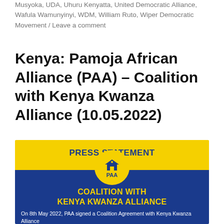Musyoka, UDA, Uhuru Kenyatta, United Democratic Alliance, Wafula Wamunyinyi, WDM, William Ruto, Wiper Democratic Movement / Leave a comment
Kenya: Pamoja African Alliance (PAA) – Coalition with Kenya Kwanza Alliance (10.05.2022)
[Figure (infographic): Press Statement graphic for PAA (Pamoja African Alliance) showing a yellow header bar with 'PRESS STATEMENT' in blue bold text, a circular PAA logo badge, a blue background with yellow text reading 'COALITION WITH KENYA KWANZA ALLIANCE', and white text at bottom: 'On 8th May 2022, PAA signed a Coalition Agreement with Kenya Kwanza Alliance']